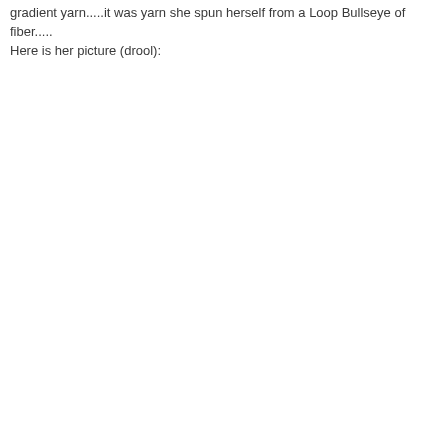gradient yarn.....it was yarn she spun herself from a Loop Bullseye of fiber.....
Here is her picture (drool):